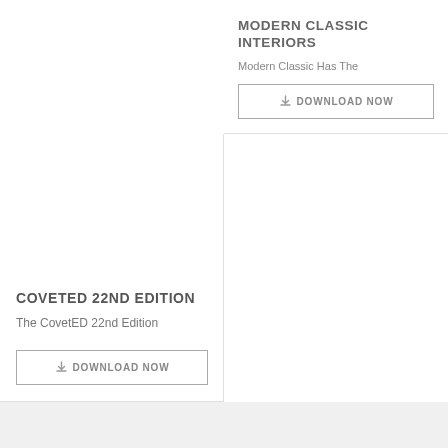MODERN CLASSIC INTERIORS
Modern Classic Has The
DOWNLOAD NOW
COVETED 22ND EDITION
The CovetED 22nd Edition
DOWNLOAD NOW